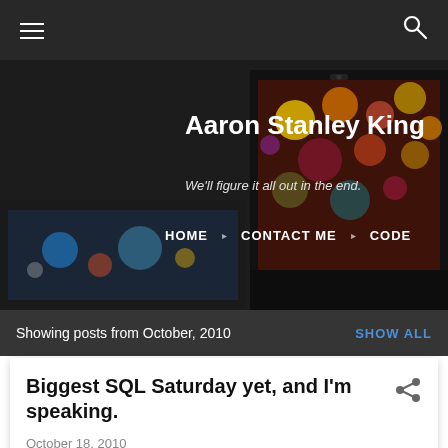[Figure (screenshot): Blog header image showing a monitor with bokeh/colorful wallpaper, dark background with smaller monitor visible on left side]
Aaron Stanley King — We'll figure it all out in the end. Navigation: HOME | CONTACT ME | CODE
Showing posts from October, 2010
SHOW ALL
Biggest SQL Saturday yet, and I'm speaking.
October 18, 2010
I'm really excited about the upcoming SQL Saturday events.